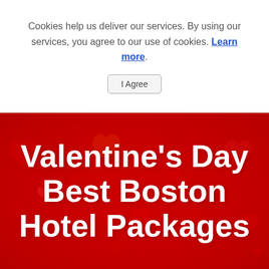Cookies help us deliver our services. By using our services, you agree to our use of cookies. Learn more.
I Agree
[Figure (photo): Red background covered with many red paper hearts of various sizes scattered across the surface, Valentine's Day themed image with bold white text overlay reading 'Valentine's Day Best Boston Hotel Packages']
Valentine's Day Best Boston Hotel Packages